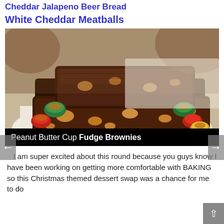Cheddar Jalapeno Beer Bread
White Cheddar Meatballs
[Figure (photo): Photo of chocolate peanut butter cup fudge brownies stacked on a white plate, surrounded by colorful mini peanut butter cups in red, green, and gold wrappers. Black banner at bottom reads: Peanut Butter Cup Fudge Brownies]
I am super excited about this round because you guys know I have been working on getting more comfortable with BAKING so this Christmas themed dessert swap was a chance for me to do